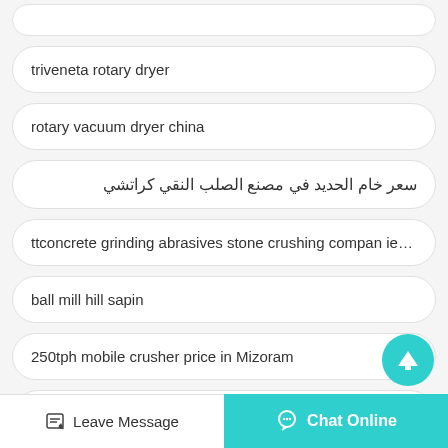triveneta rotary dryer
rotary vacuum dryer china
سعر خام الحديد في مصنع الصلب النقي كراتشي
ttconcrete grinding abrasives stone crushing compan ies Pun...
ball mill hill sapin
250tph mobile crusher price in Mizoram
diamond mining equipment sell
Leave Message
Chat Online